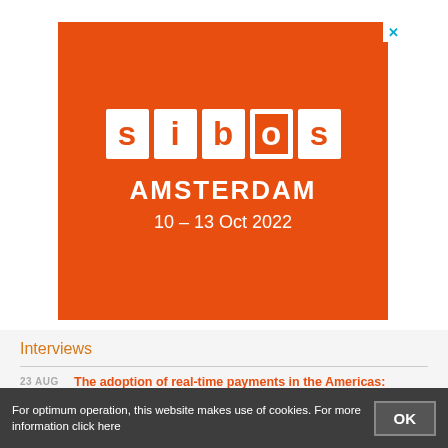[Figure (logo): Sibos Amsterdam 10-13 Oct 2022 event advertisement banner on orange background with white Sibos logo tiles and text]
Interviews
23 AUG  The adoption of real-time payments in the Americas: Forecast and challenges
For optimum operation, this website makes use of cookies. For more information click here
OK